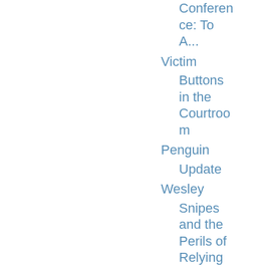Conference: To A...
Victim
Buttons in the Courtroom
Penguin Update
Wesley
Snipes and the Perils of Relying on Counsel
Of
Penguins,